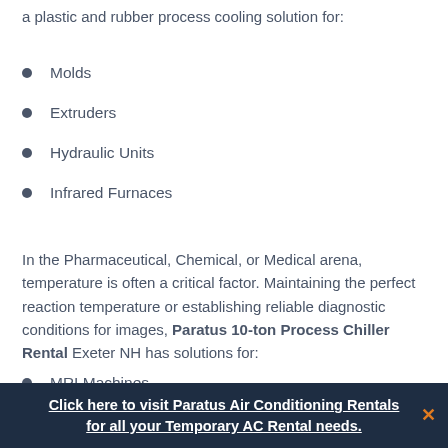a plastic and rubber process cooling solution for:
Molds
Extruders
Hydraulic Units
Infrared Furnaces
In the Pharmaceutical, Chemical, or Medical arena, temperature is often a critical factor. Maintaining the perfect reaction temperature or establishing reliable diagnostic conditions for images, Paratus 10-ton Process Chiller Rental Exeter NH has solutions for:
MRI Machines
CT Scanners
Click here to visit Paratus Air Conditioning Rentals for all your Temporary AC Rental needs.